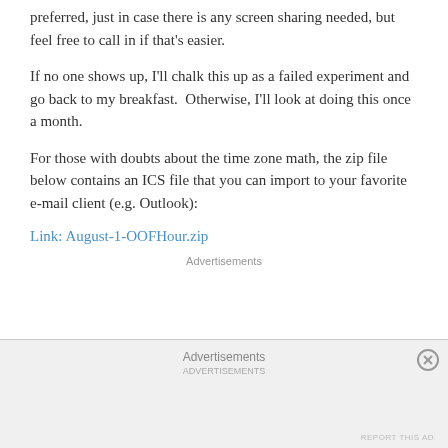preferred, just in case there is any screen sharing needed, but feel free to call in if that's easier.
If no one shows up, I'll chalk this up as a failed experiment and go back to my breakfast.  Otherwise, I'll look at doing this once a month.
For those with doubts about the time zone math, the zip file below contains an ICS file that you can import to your favorite e-mail client (e.g. Outlook):
Link: August-1-OOFHour.zip
Advertisements
Advertisements
REPORT THIS AD